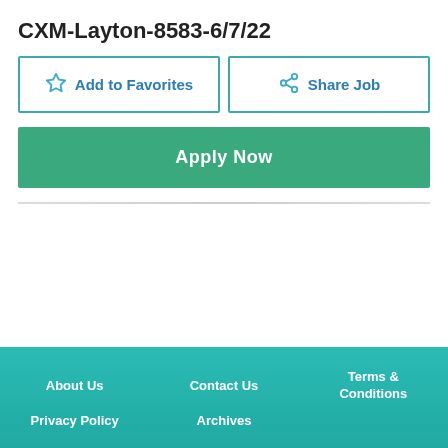CXM-Layton-8583-6/7/22
Add to Favorites
Share Job
Apply Now
About Us | Contact Us | Terms & Conditions | Privacy Policy | Archives